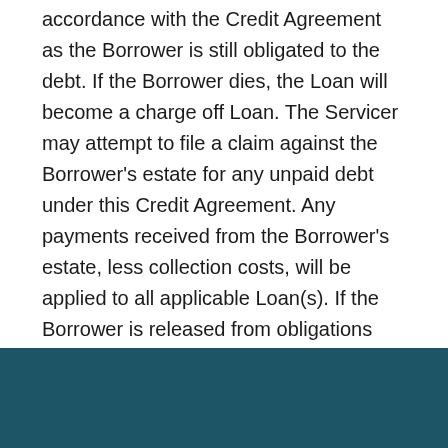accordance with the Credit Agreement as the Borrower is still obligated to the debt. If the Borrower dies, the Loan will become a charge off Loan. The Servicer may attempt to file a claim against the Borrower's estate for any unpaid debt under this Credit Agreement. Any payments received from the Borrower's estate, less collection costs, will be applied to all applicable Loan(s). If the Borrower is released from obligations under this section, no refund will be paid for prior payments made on the Loan.